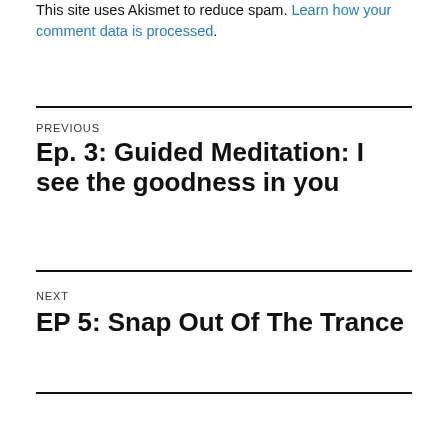This site uses Akismet to reduce spam. Learn how your comment data is processed.
PREVIOUS
Ep. 3: Guided Meditation: I see the goodness in you
NEXT
EP 5: Snap Out Of The Trance